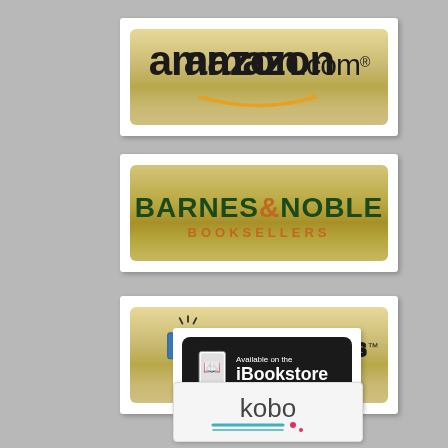[Figure (logo): Amazon.com logo on gold/tan gradient rectangular badge]
[Figure (logo): Barnes & Noble Booksellers logo on gold gradient rectangular badge with dark green and orange text]
[Figure (logo): Smashwords logo on gold gradient rectangular badge with book icon and blue tagline 'your ebook, your way.']
[Figure (logo): Available on the iBookstore badge, black rounded rectangle with white text and book icon]
[Figure (logo): Kobo logo on light gray rounded rectangle badge]